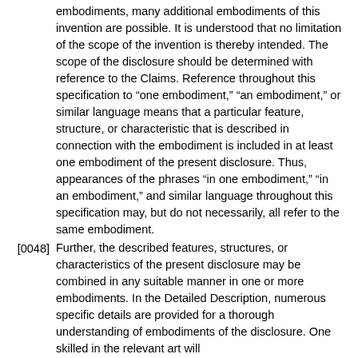embodiments, many additional embodiments of this invention are possible. It is understood that no limitation of the scope of the invention is thereby intended. The scope of the disclosure should be determined with reference to the Claims. Reference throughout this specification to “one embodiment,” “an embodiment,” or similar language means that a particular feature, structure, or characteristic that is described in connection with the embodiment is included in at least one embodiment of the present disclosure. Thus, appearances of the phrases “in one embodiment,” “in an embodiment,” and similar language throughout this specification may, but do not necessarily, all refer to the same embodiment.
[0048] Further, the described features, structures, or characteristics of the present disclosure may be combined in any suitable manner in one or more embodiments. In the Detailed Description, numerous specific details are provided for a thorough understanding of embodiments of the disclosure. One skilled in the relevant art will